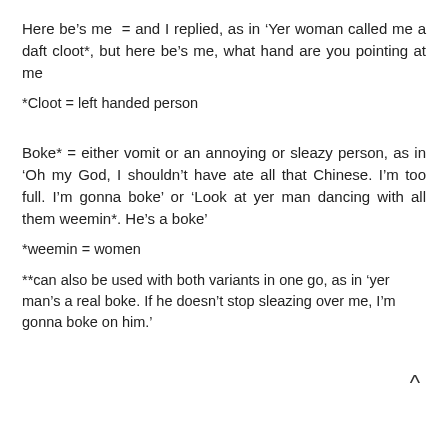Here be’s me  = and I replied, as in ‘Yer woman called me a daft cloot*, but here be’s me, what hand are you pointing at me
*Cloot = left handed person
Boke* = either vomit or an annoying or sleazy person, as in ‘Oh my God, I shouldn’t have ate all that Chinese. I’m too full. I’m gonna boke’ or ‘Look at yer man dancing with all them weemin*. He’s a boke’
*weemin = women
**can also be used with both variants in one go, as in ‘yer man’s a real boke. If he doesn’t stop sleazing over me, I’m gonna boke on him.’